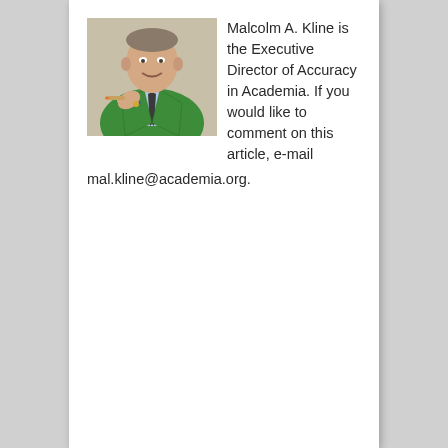[Figure (photo): Photo of Malcolm A. Kline wearing a green blazer and dark tie, holding a cigar, smiling at the camera]
Malcolm A. Kline is the Executive Director of Accuracy in Academia. If you would like to comment on this article, e-mail mal.kline@academia.org.